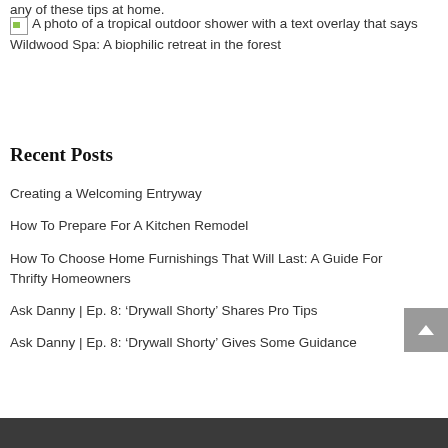any of these tips at home.
[Figure (photo): A photo of a tropical outdoor shower with a text overlay that says Wildwood Spa: A biophilic retreat in the forest (broken image placeholder shown)]
Recent Posts
Creating a Welcoming Entryway
How To Prepare For A Kitchen Remodel
How To Choose Home Furnishings That Will Last: A Guide For Thrifty Homeowners
Ask Danny | Ep. 8: ‘Drywall Shorty’ Shares Pro Tips
Ask Danny | Ep. 8: ‘Drywall Shorty’ Gives Some Guidance